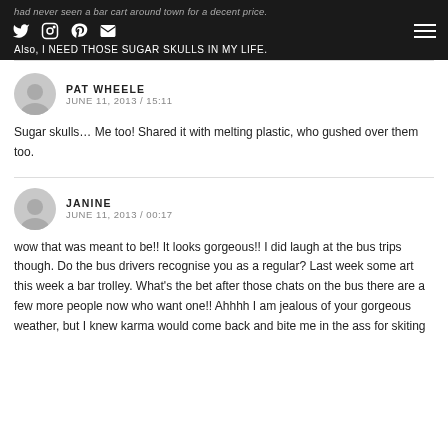had never seen a bar cart around town for a decent price. Also, I NEED THOSE SUGAR SKULLS IN MY LIFE.
PAT WHEELE
JUNE 11, 2013 / 15:11

Sugar skulls… Me too! Shared it with melting plastic, who gushed over them too.
JANINE
JUNE 11, 2013 / 00:17

wow that was meant to be!! It looks gorgeous!! I did laugh at the bus trips though. Do the bus drivers recognise you as a regular? Last week some art this week a bar trolley. What's the bet after those chats on the bus there are a few more people now who want one!! Ahhhh I am jealous of your gorgeous weather, but I knew karma would come back and bite me in the ass for skiting